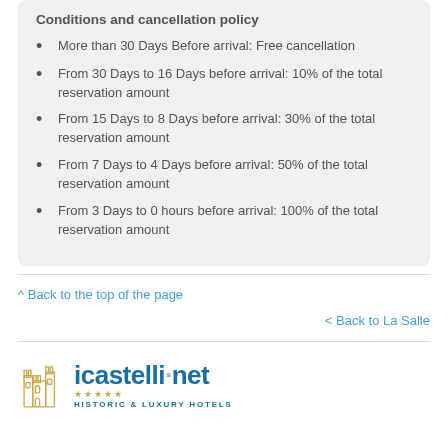Conditions and cancellation policy
More than 30 Days Before arrival: Free cancellation
From 30 Days to 16 Days before arrival: 10% of the total reservation amount
From 15 Days to 8 Days before arrival: 30% of the total reservation amount
From 7 Days to 4 Days before arrival: 50% of the total reservation amount
From 3 Days to 0 hours before arrival: 100% of the total reservation amount
^ Back to the top of the page
< Back to La Salle
[Figure (logo): icastelli.net Historic & Luxury Hotels logo with castle icon and gold stars]